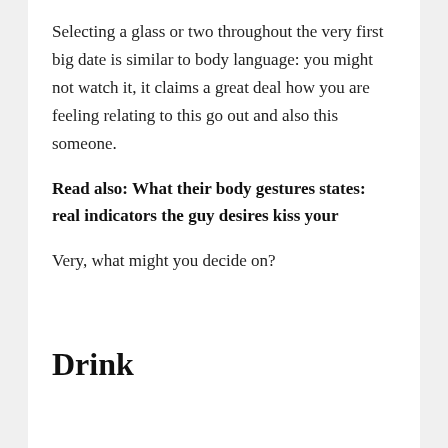Selecting a glass or two throughout the very first big date is similar to body language: you might not watch it, it claims a great deal how you are feeling relating to this go out and also this someone.
Read also: What their body gestures states: real indicators the guy desires kiss your
Very, what might you decide on?
Drink